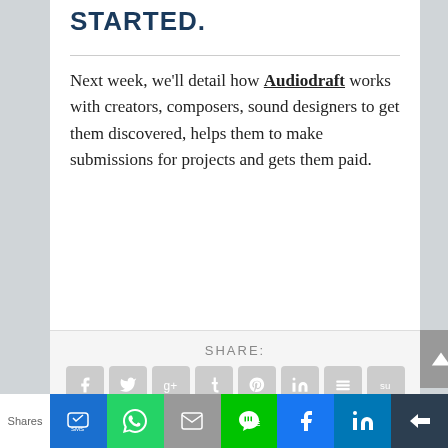STARTED.
Next week, we'll detail how Audiodraft works with creators, composers, sound designers to get them discovered, helps them to make submissions for projects and gets them paid.
SHARE:
[Figure (infographic): Row of social share icon buttons: Facebook, Twitter, Google+, Tumblr, Pinterest, LinkedIn, Buffer, StumbleUpon, Email, and a print button below]
RATE:
[Figure (infographic): Five star rating icons (partially visible)]
Shares | SMS | WhatsApp | Email | Line | Facebook | LinkedIn | More